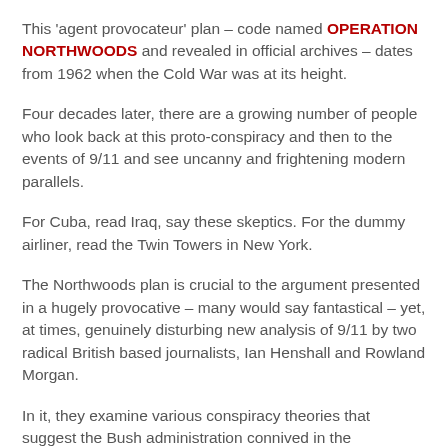This 'agent provocateur' plan – code named OPERATION NORTHWOODS and revealed in official archives – dates from 1962 when the Cold War was at its height.
Four decades later, there are a growing number of people who look back at this proto-conspiracy and then to the events of 9/11 and see uncanny and frightening modern parallels.
For Cuba, read Iraq, say these skeptics. For the dummy airliner, read the Twin Towers in New York.
The Northwoods plan is crucial to the argument presented in a hugely provocative – many would say fantastical – yet, at times, genuinely disturbing new analysis of 9/11 by two radical British based journalists, Ian Henshall and Rowland Morgan.
In it, they examine various conspiracy theories that suggest the Bush administration connived in the devastating aerial attacks on New York and Washington four years ago. The reason? To give Bush the excuse he wanted to push ahead